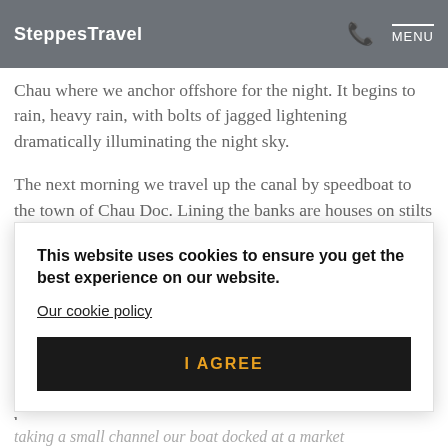SteppesTravel | MENU
Chau where we anchor offshore for the night. It begins to rain, heavy rain, with bolts of jagged lightening dramatically illuminating the night sky.
The next morning we travel up the canal by speedboat to the town of Chau Doc. Lining the banks are houses on stilts with wooden boats tied
This website uses cookies to ensure you get the best experience on our website. Our cookie policy
I AGREE
taking a small channel our boat docked at a market